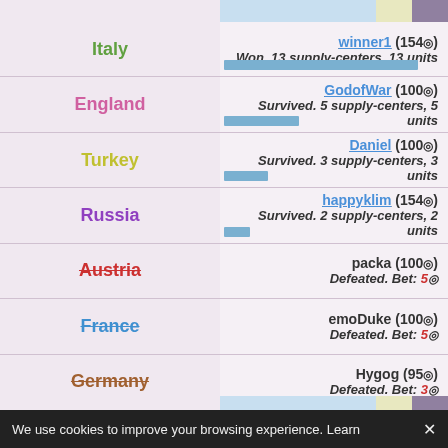Game won by winner1 (2018)
Italy — winner1 (154D) Won. 13 supply-centers, 13 units
England — GodofWar (100D) Survived. 5 supply-centers, 5 units
Turkey — Daniel (100D) Survived. 3 supply-centers, 3 units
Russia — happyklim (154D) Survived. 2 supply-centers, 2 units
Austria — packa (100D) Defeated. Bet: 5D
France — emoDuke (100D) Defeated. Bet: 5D
Germany — Hygog (95D) Defeated. Bet: 3D
We use cookies to improve your browsing experience. Learn ✕